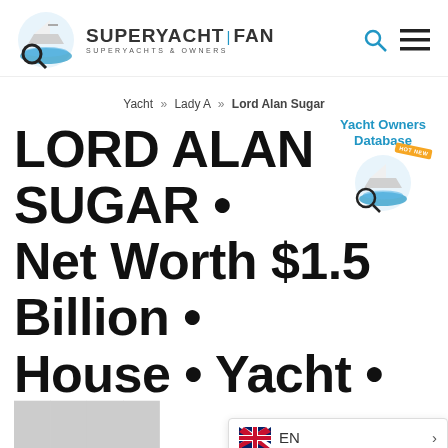SUPERYACHT | FAN — SUPERYACHTS & OWNERS
Yacht » Lady A » Lord Alan Sugar
[Figure (other): Yacht Owners Database promotional widget with logo icon and HOT NEW badge]
LORD ALAN SUGAR • Net Worth $1.5 Billion • House • Yacht • ... | AMCBPOP